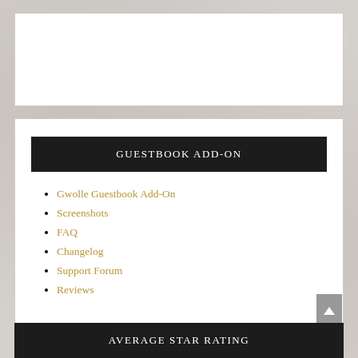GUESTBOOK ADD-ON
Gwolle Guestbook Add-On
Screenshots
FAQ
Changelog
Support Forum
Reviews
AVERAGE STAR RATING